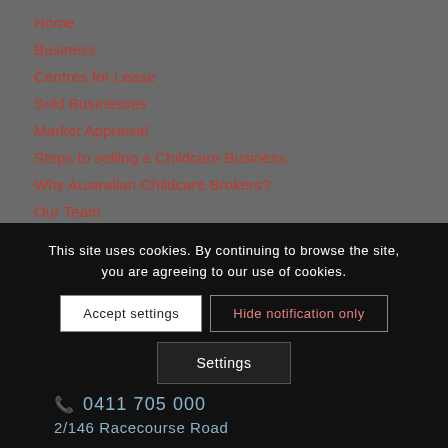Home
Business
Centres for Lease
Sold Businesses
Market Appraisal
Steps to selling a Childcare Business
Why Australian Childcare Brokers?
Our Team
Contact Us
This site uses cookies. By continuing to browse the site, you are agreeing to our use of cookies.
Accept settings | Hide notification only | Settings
0411 705 000
2/146 Racecourse Road